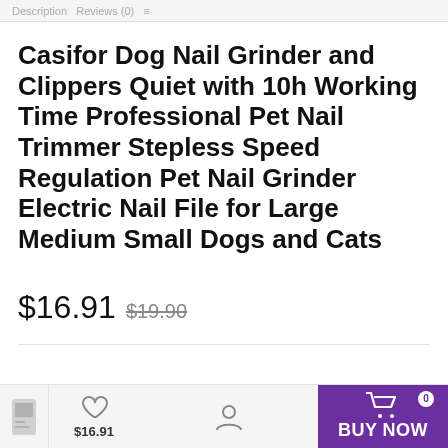Description  Reviews (0)
Casifor Dog Nail Grinder and Clippers Quiet with 10h Working Time Professional Pet Nail Trimmer Stepless Speed Regulation Pet Nail Grinder Electric Nail File for Large Medium Small Dogs and Cats
$16.91  $19.90
$16.91  BUY NOW